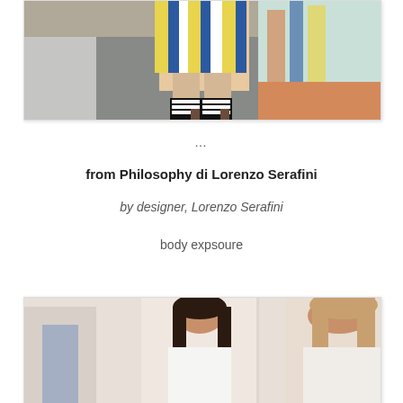[Figure (photo): Fashion runway photo showing lower body of model wearing colorful striped outfit with zebra-stripe sandal heels, walking on a gray and peach-toned runway floor.]
…
from Philosophy di Lorenzo Serafini
by designer, Lorenzo Serafini
body expsoure
[Figure (photo): Fashion runway photo showing two female models, one with dark hair and one with light hair, in minimal white/light-colored outfits.]